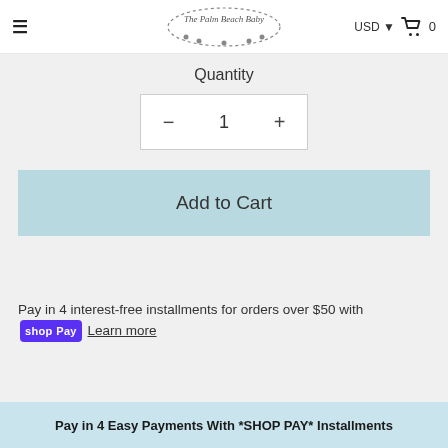≡  The Palm Beach Baby  USD ▾  🛒 0
Quantity
[Figure (screenshot): Quantity selector with minus button, value 1, and plus button]
[Figure (screenshot): Add to Cart button in light blue]
Pay in 4 interest-free installments for orders over $50 with shop Pay Learn more
Pay in 4 Easy Payments With *SHOP PAY* Installments